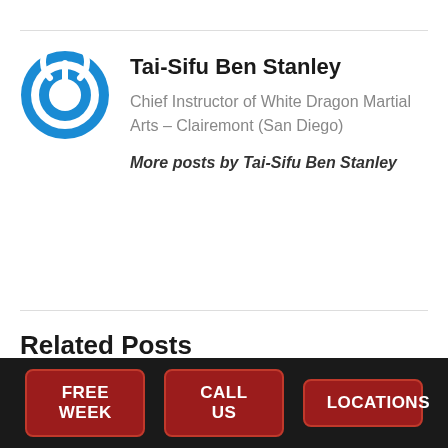[Figure (logo): Blue circular power button icon logo]
Tai-Sifu Ben Stanley
Chief Instructor of White Dragon Martial Arts – Clairemont (San Diego)
More posts by Tai-Sifu Ben Stanley
Related Posts
FREE WEEK   CALL US   LOCATIONS